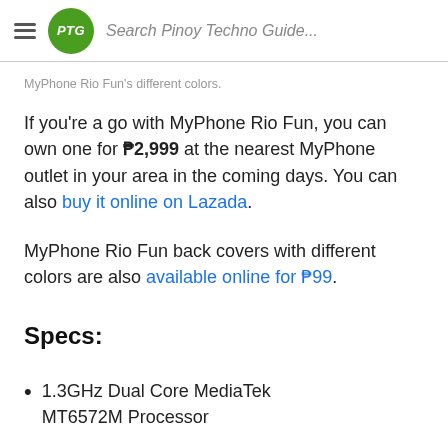PTG Search Pinoy Techno Guide...
MyPhone Rio Fun's different colors.
If you're a go with MyPhone Rio Fun, you can own one for ₱2,999 at the nearest MyPhone outlet in your area in the coming days. You can also buy it online on Lazada.
MyPhone Rio Fun back covers with different colors are also available online for ₱99.
Specs:
1.3GHz Dual Core MediaTek MT6572M Processor